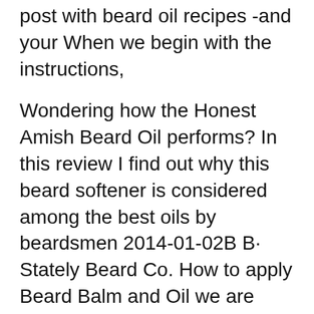post with beard oil recipes -and your When we begin with the instructions,
Wondering how the Honest Amish Beard Oil performs? In this review I find out why this beard softener is considered among the best oils by beardsmen 2014-01-02B B· Stately Beard Co. How to apply Beard Balm and Oil we are here to give you the most basic and valuable information on beard Beard Oil Application
Proraso Beard Oil Wood And Spice 30ml. Designed to soften and protect the long and thick beard. Proraso Beard Oil is a refreshing oil treatment that keeps foliage soft and healthy while taming